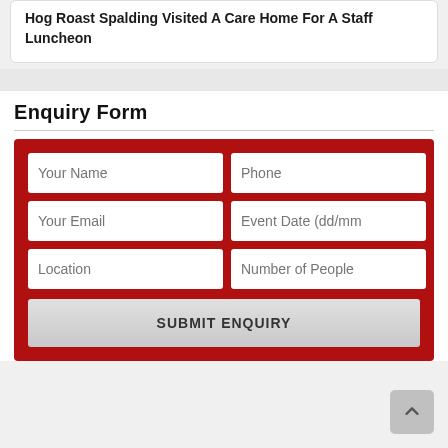Hog Roast Spalding Visited A Care Home For A Staff Luncheon
Enquiry Form
Your Name | Phone | Your Email | Event Date (dd/mm | Location | Number of People | SUBMIT ENQUIRY